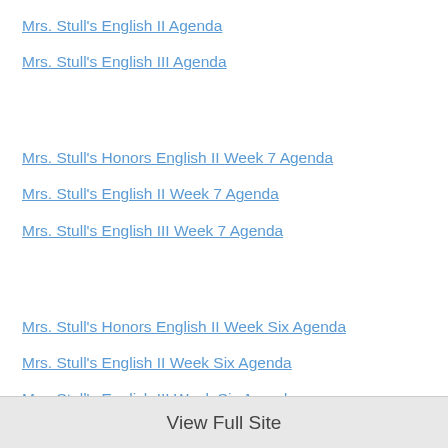Mrs. Stull's English II Agenda
Mrs. Stull's English III Agenda
Mrs. Stull's Honors English II Week 7 Agenda
Mrs. Stull's English II Week 7 Agenda
Mrs. Stull's English III Week 7 Agenda
Mrs. Stull's Honors English II Week Six Agenda
Mrs. Stull's English II Week Six Agenda
Mrs. Stull's English III Week Six Agenda
View Full Site